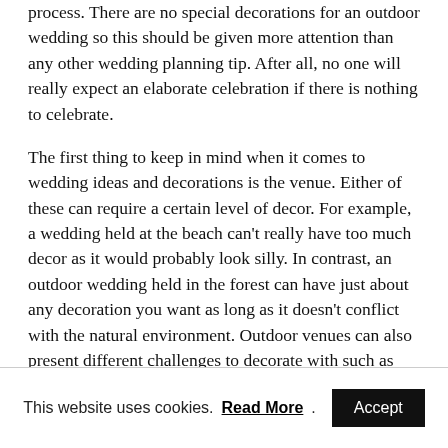process. There are no special decorations for an outdoor wedding so this should be given more attention than any other wedding planning tip. After all, no one will really expect an elaborate celebration if there is nothing to celebrate.
The first thing to keep in mind when it comes to wedding ideas and decorations is the venue. Either of these can require a certain level of decor. For example, a wedding held at the beach can't really have too much decor as it would probably look silly. In contrast, an outdoor wedding held in the forest can have just about any decoration you want as long as it doesn't conflict with the natural environment. Outdoor venues can also present different challenges to decorate with such as uneven surfaces or tall trees which can make things complicated.
This website uses cookies. Read More. Accept